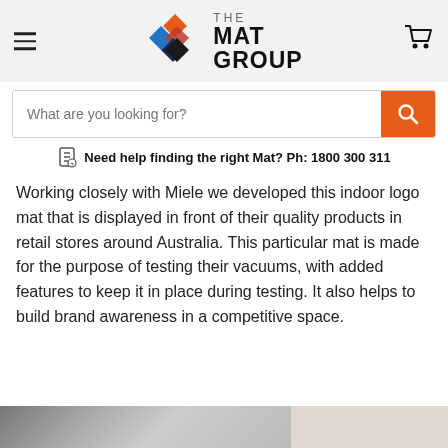The Mat Group — navigation header with logo, hamburger menu, cart icon
What are you looking for?
Need help finding the right Mat? Ph: 1800 300 311
Working closely with Miele we developed this indoor logo mat that is displayed in front of their quality products in retail stores around Australia. This particular mat is made for the purpose of testing their vacuums, with added features to keep it in place during testing. It also helps to build brand awareness in a competitive space.
[Figure (photo): Bottom strip showing a retail store interior with glass windows and flooring, partially cropped]